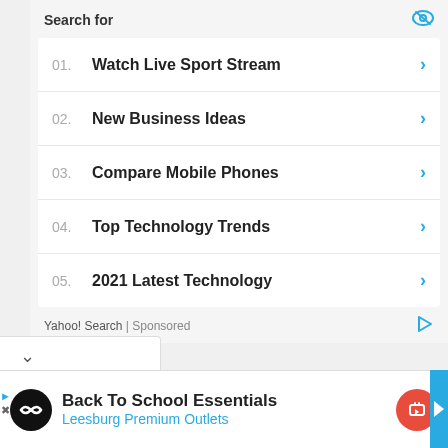Search for
01. Watch Live Sport Stream
02. New Business Ideas
03. Compare Mobile Phones
04. Top Technology Trends
05. 2021 Latest Technology
Yahoo! Search | Sponsored
Back To School Essentials
Leesburg Premium Outlets